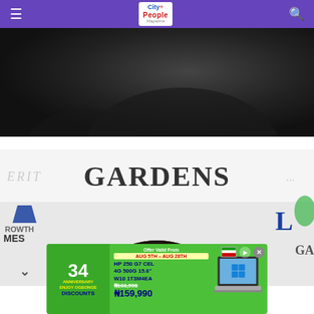City People Magazine — navigation header with hamburger menu and search icon
[Figure (photo): Dark background photo showing part of a person against a nearly black backdrop]
[Figure (photo): Photo of a person (top of head with dark hair) in front of a backdrop reading 'GARDENS' with partial text 'ERIT' on left and branding logos including growth-themed logo on left and 'L GA' on right]
[Figure (infographic): Green advertisement banner for HP 250 G7 laptop. 34th Anniversary, Enjoy Ogbonge Discounts. HP 250 G7 CEL 4G 500G 15.6 W10 1T3M4EA. Offer Valid From AUG 5TH - AUG 28TH. Price: N166,990 reduced to N159,990.]